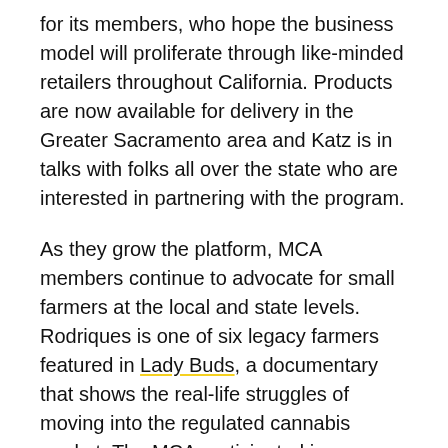for its members, who hope the business model will proliferate through like-minded retailers throughout California. Products are now available for delivery in the Greater Sacramento area and Katz is in talks with folks all over the state who are interested in partnering with the program.
As they grow the platform, MCA members continue to advocate for small farmers at the local and state levels. Rodriques is one of six legacy farmers featured in Lady Buds, a documentary that shows the real-life struggles of moving into the regulated cannabis market. The MCA participated in a viewing of the documentary and Q&A session with state-level advocacy group Origins Council for lawmakers in Sacramento before a hearing on California's craft cannabis bill AB-2691, and next will be showing the film at the Mendocino Film Festival. Since our interview,